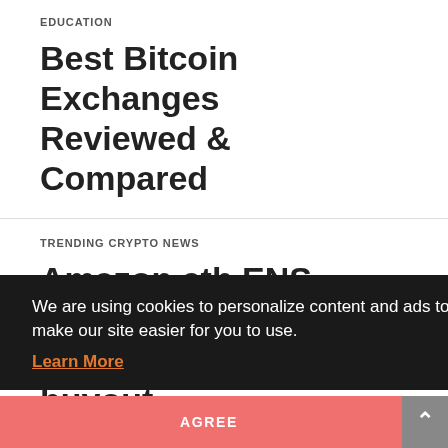EDUCATION
Best Bitcoin Exchanges Reviewed & Compared
TRENDING CRYPTO NEWS
Amazon.eth ENS domain owner disregards 1M USDC buyout offer on Opensea
We are using cookies to personalize content and ads to make our site easier for you to use.
Learn More
AGREE
About Us